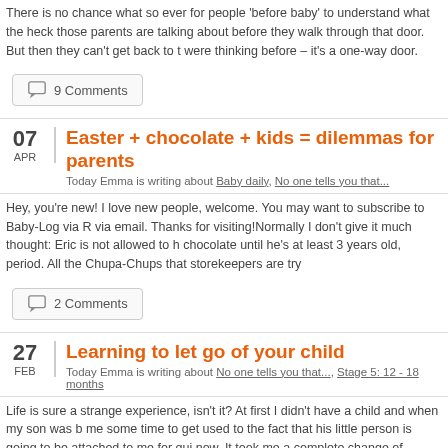There is no chance what so ever for people 'before baby' to understand what the heck those parents are talking about before they walk through that door. But then they can't get back to the way they were thinking before – it's a one-way door.
9 Comments
Easter + chocolate + kids = dilemmas for parents
Today Emma is writing about Baby daily, No one tells you that...
Hey, you're new! I love new people, welcome. You may want to subscribe to Baby-Log via R... via email. Thanks for visiting!Normally I don't give it much thought: Eric is not allowed to h... chocolate until he's at least 3 years old, period. All the Chupa-Chups that storekeepers are try...
2 Comments
Learning to let go of your child
Today Emma is writing about No one tells you that..., Stage 5: 12 - 18 months
Life is sure a strange experience, isn't it? At first I didn't have a child and when my son was b... me some time to get used to the fact that his little person is going to be attached to me for qui... now. It took me a complete change of mindset to become a Mom, a person responsible for a c... second of every minute of every day.